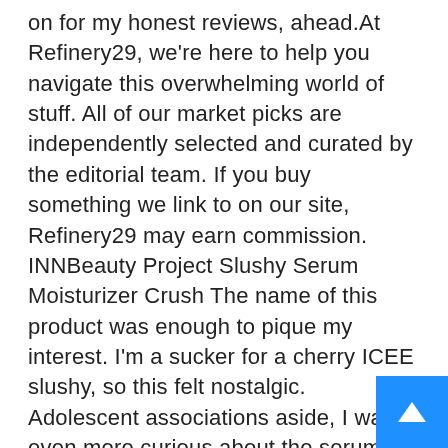on for my honest reviews, ahead.At Refinery29, we're here to help you navigate this overwhelming world of stuff. All of our market picks are independently selected and curated by the editorial team. If you buy something we link to on our site, Refinery29 may earn commission. INNBeauty Project Slushy Serum Moisturizer Crush The name of this product was enough to pique my interest. I'm a sucker for a cherry ICEE slushy, so this felt nostalgic. Adolescent associations aside, I was even more curious about the serum-moisturizer hybrid, which has bakuchiol, hyaluronic acid, and yuzu for hydrating and brightening. The pump dispenses a frosty formula that mimics actual slush. The application is no-frills: I warmed it up between my fingers, and it instantly melted down